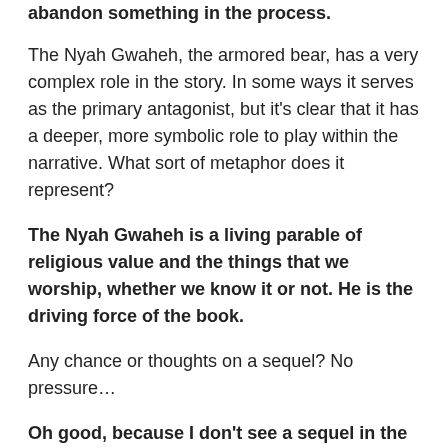abandon something in the process.
The Nyah Gwaheh, the armored bear, has a very complex role in the story. In some ways it serves as the primary antagonist, but it's clear that it has a deeper, more symbolic role to play within the narrative. What sort of metaphor does it represent?
The Nyah Gwaheh is a living parable of religious value and the things that we worship, whether we know it or not. He is the driving force of the book.
Any chance or thoughts on a sequel? No pressure…
Oh good, because I don't see a sequel in the future. I think I'll leave the characters to their own devices for a while.
This last question is pretty free-form. What would you like